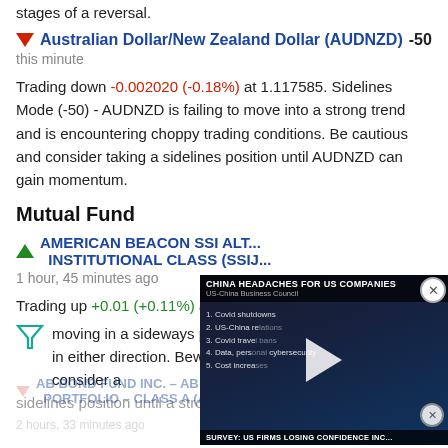stages of a reversal.
▼ Australian Dollar/New Zealand Dollar (AUDNZD) -50
this minute
Trading down -0.002020 (-0.18%) at 1.117585. Sidelines Mode (-50) - AUDNZD is failing to move into a strong trend and is encountering choppy trading conditions. Be cautious and consider taking a sidelines position until AUDNZD can gain momentum.
Mutual Fund
AMERICAN BEACON SSI ALT... INSTITUTIONAL CLASS (SSIJ...
1 hour, 45 minutes ago
Trading up +0.01 (+0.11%) at 9.42... moving in a sideways pattern and... in either direction. Beware of choppy movement and consider a sidelines position until a stronger trend is identified.
[Figure (screenshot): Video overlay showing 'CHINA HEADACHES FOR US COMPANIES' news segment with a list: 1. Covid shutdowns, 2. US-China relations, 3. Covid travel bans, 4. Data, personal cybersecurity, 5. Cost increases. Bottom bar reads SURVEY: US FIRMS LOSING CONFIDENCE INC]
AB BOND FUND INC. – AB BOND INFLATION STRA... PORTFOLIO – CLASS A (ABNAX) -100
2 hours, 33 minutes ago